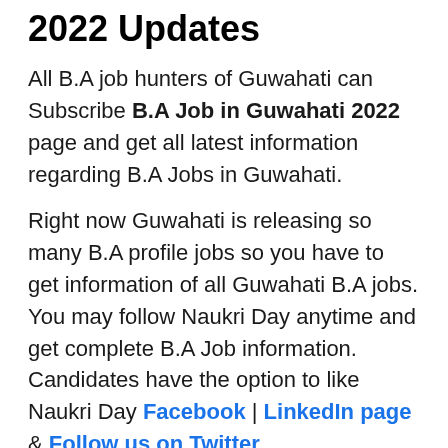2022 Updates
All B.A job hunters of Guwahati can Subscribe B.A Job in Guwahati 2022 page and get all latest information regarding B.A Jobs in Guwahati.
Right now Guwahati is releasing so many B.A profile jobs so you have to get information of all Guwahati B.A jobs. You may follow Naukri Day anytime and get complete B.A Job information. Candidates have the option to like Naukri Day Facebook | LinkedIn page & Follow us on Twitter.
Further queries of yours can Download Naukri Day App & Comment on below. We assure all B.A Candidate that you will get detailed news of B.A